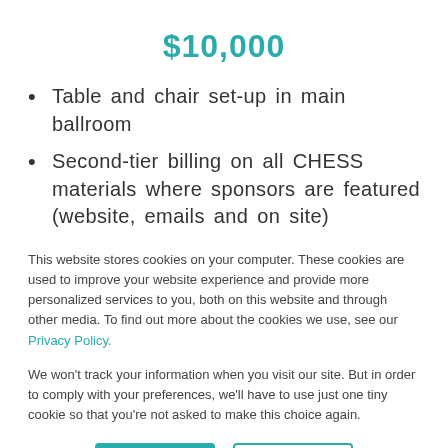$10,000
Table and chair set-up in main ballroom
Second-tier billing on all CHESS materials where sponsors are featured (website, emails and on site)
This website stores cookies on your computer. These cookies are used to improve your website experience and provide more personalized services to you, both on this website and through other media. To find out more about the cookies we use, see our Privacy Policy.
We won't track your information when you visit our site. But in order to comply with your preferences, we'll have to use just one tiny cookie so that you're not asked to make this choice again.